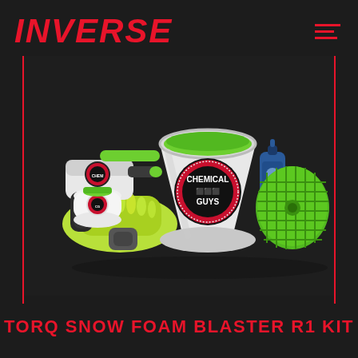INVERSE
[Figure (photo): Chemical Guys TORQ Snow Foam Blaster R1 Kit product photo showing a foam blaster gun, white Chemical Guys bucket, yellow-green microfiber wash mitt, blue bottle of car wash soap, and a green grit guard insert, all on a dark background]
TORQ SNOW FOAM BLASTER R1 KIT